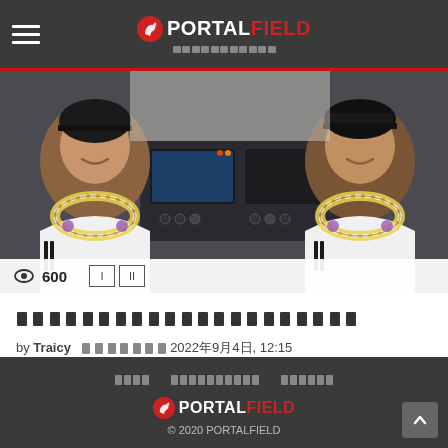PORTALFIELD
[Figure (photo): Two female pilots in white uniforms wearing flower leis (Hawaiian leis) sitting in an aircraft cockpit with flight instruments visible behind them. Both women are smiling at the camera.]
600
[Japanese text title - article headline in Japanese characters]
by Traicy  2022年9月4日, 12:15
ホーム  プライバシーポリシー  お問い合わせ
© 2020 PORTALFIELD